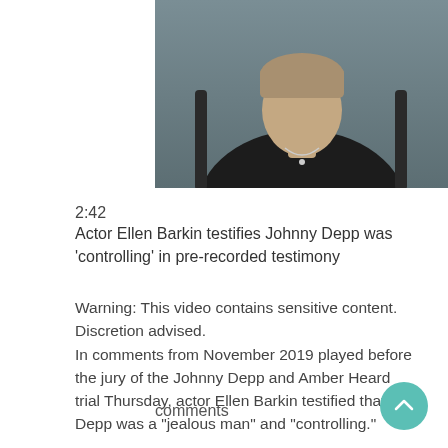[Figure (photo): A photograph of a person (Ellen Barkin) wearing dark clothing with a necklace, against a grey background.]
2:42
Actor Ellen Barkin testifies Johnny Depp was 'controlling' in pre-recorded testimony
Warning: This video contains sensitive content. Discretion advised.
In comments from November 2019 played before the jury of the Johnny Depp and Amber Heard trial Thursday, actor Ellen Barkin testified that Depp was a "jealous man" and "controlling."
comments